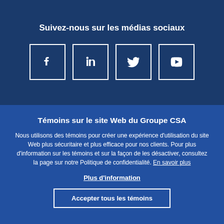Suivez-nous sur les médias sociaux
[Figure (infographic): Four social media icon boxes: Facebook (f), LinkedIn (in), Twitter (bird icon), YouTube (play button), arranged in a row with white borders on dark blue background]
Témoins sur le site Web du Groupe CSA
Nous utilisons des témoins pour créer une expérience d'utilisation du site Web plus sécuritaire et plus efficace pour nos clients. Pour plus d'information sur les témoins et sur la façon de les désactiver, consultez la page sur notre Politique de confidentialité. En savoir plus
Plus d'information
Accepter tous les témoins